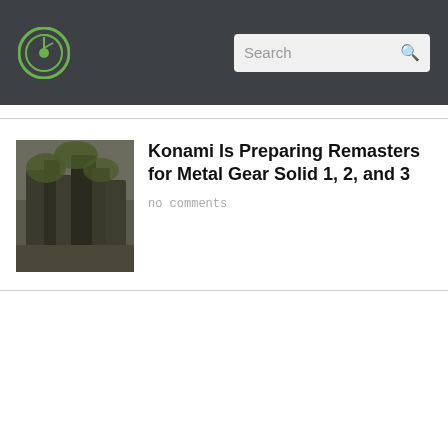Search
[Figure (photo): Metal Gear Solid promotional artwork showing mechanical figures]
Konami Is Preparing Remasters for Metal Gear Solid 1, 2, and 3
no comments